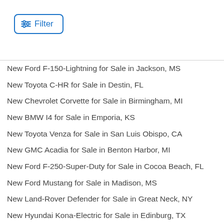[Figure (other): Filter button with sliders icon and blue border]
New Ford F-150-Lightning for Sale in Jackson, MS
New Toyota C-HR for Sale in Destin, FL
New Chevrolet Corvette for Sale in Birmingham, MI
New BMW I4 for Sale in Emporia, KS
New Toyota Venza for Sale in San Luis Obispo, CA
New GMC Acadia for Sale in Benton Harbor, MI
New Ford F-250-Super-Duty for Sale in Cocoa Beach, FL
New Ford Mustang for Sale in Madison, MS
New Land-Rover Defender for Sale in Great Neck, NY
New Hyundai Kona-Electric for Sale in Edinburg, TX
New Ford Expedition for Sale in Mayfield, KY
New Chevrolet Silverado-2500Hd for Sale in Jefferson, GA
New Subaru BRZ for Sale in Fort Lee, NJ
New Toyota Rav4 for Sale in Madison Heights, MI
Used Infiniti QX55 in Lansing, IL
New Porsche Panamera for Sale in Petersburg, VA